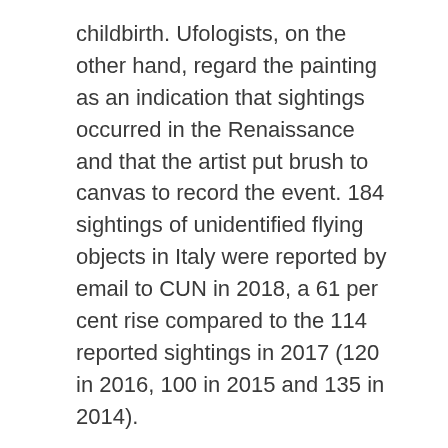childbirth. Ufologists, on the other hand, regard the painting as an indication that sightings occurred in the Renaissance and that the artist put brush to canvas to record the event. 184 sightings of unidentified flying objects in Italy were reported by email to CUN in 2018, a 61 per cent rise compared to the 114 reported sightings in 2017 (120 in 2016, 100 in 2015 and 135 in 2014).
Cook, stirring constantly, until sauce is thickened, about 1 minute. Off heat, stir in basil and scallions. Serve.. Who are the “little people”?Xavier Roberts produced the “Little People” from replica bags chicago 1976 1981 in an old renovated medical clinic in Cleveland Georgia dubbed “Baby Land General”. The dolls were entirely soft sculpture each was an original one you could try these out of a kind creation. Guests were greeted by